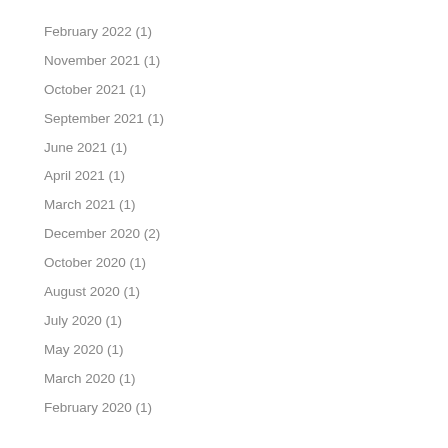February 2022 (1)
November 2021 (1)
October 2021 (1)
September 2021 (1)
June 2021 (1)
April 2021 (1)
March 2021 (1)
December 2020 (2)
October 2020 (1)
August 2020 (1)
July 2020 (1)
May 2020 (1)
March 2020 (1)
February 2020 (1)